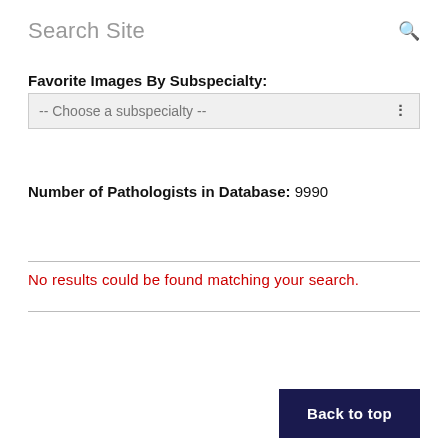Search Site
Favorite Images By Subspecialty:
-- Choose a subspecialty --
Number of Pathologists in Database: 9990
No results could be found matching your search.
Back to top